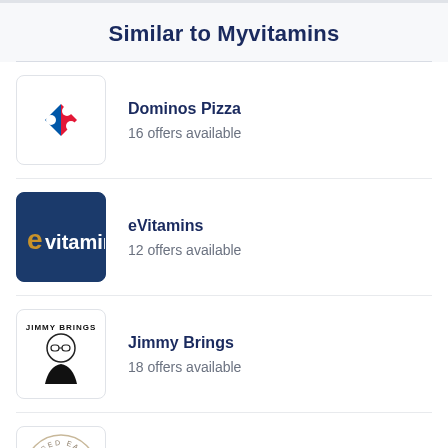Similar to Myvitamins
Dominos Pizza
16 offers available
eVitamins
12 offers available
Jimmy Brings
18 offers available
Kissed Earth
13 offers available